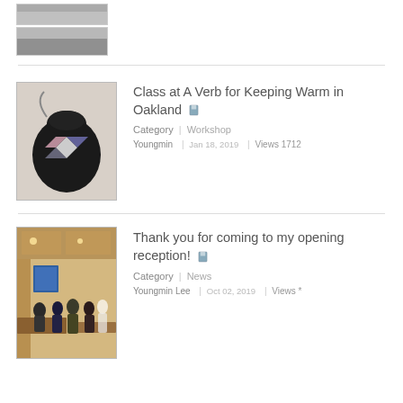[Figure (photo): Partial view of a thumbnail image at top of page, cropped]
[Figure (photo): Black leather bag with decorative diamond pattern in purple, pink, and white on a patterned fabric background]
Class at A Verb for Keeping Warm in Oakland
Category | Workshop
Youngmin | Jan 18, 2019 | Views 1712
[Figure (photo): Gallery opening reception with people mingling inside a wood-paneled room with display cases and artwork on walls]
Thank you for coming to my opening reception!
Category | News
Youngmin Lee | Oct 02, 2019 | Views *